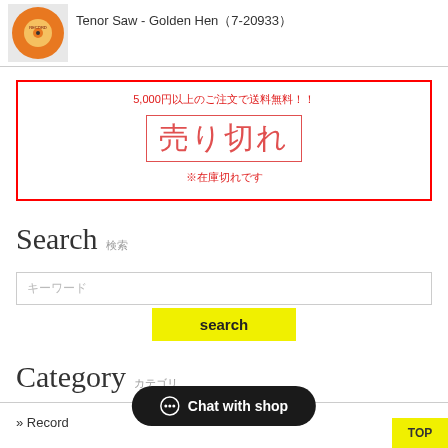[Figure (photo): Small vinyl record thumbnail image, orange/yellow label]
Tenor Saw - Golden Hen（7-20933）
5,000円以上のご注文で送料無料！！
売り切れ
※在庫切れです
Search　検索
キーワード
search
Category　カテゴリ
» Record
Chat with shop